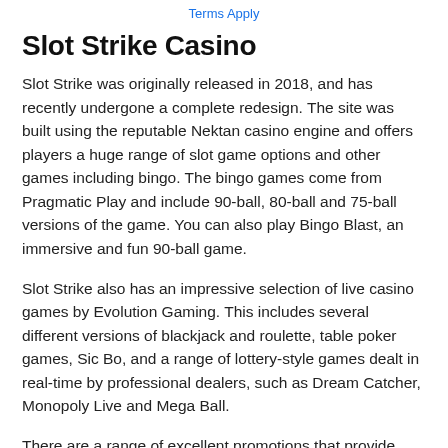Terms Apply
Slot Strike Casino
Slot Strike was originally released in 2018, and has recently undergone a complete redesign. The site was built using the reputable Nektan casino engine and offers players a huge range of slot game options and other games including bingo. The bingo games come from Pragmatic Play and include 90-ball, 80-ball and 75-ball versions of the game. You can also play Bingo Blast, an immersive and fun 90-ball game.
Slot Strike also has an impressive selection of live casino games by Evolution Gaming. This includes several different versions of blackjack and roulette, table poker games, Sic Bo, and a range of lottery-style games dealt in real-time by professional dealers, such as Dream Catcher, Monopoly Live and Mega Ball.
There are a range of excellent promotions that provide players with a variety of rewards. Take part in Game of the Week, where a deposit of at least £10 and wager on that week's game, will get you 10 free spins. You can claim this bonus twice, so for £20 you